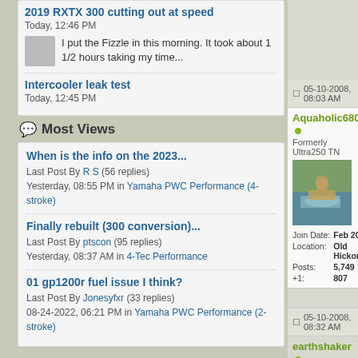2019 RXTX 300 cutting out at speed
Today, 12:46 PM
I put the Fizzle in this morning. It took about 1 1/2 hours taking my time...
Intercooler leak test
Today, 12:45 PM
Most Views
When is the info on the 2023...
Last Post By R S (56 replies)
Yesterday, 08:55 PM in Yamaha PWC Performance (4-stroke)
Finally rebuilt (300 conversion)...
Last Post By ptscon (95 replies)
Yesterday, 08:37 AM in 4-Tec Performance
01 gp1200r fuel issue I think?
Last Post By Jonesyfxr (33 replies)
08-24-2022, 06:21 PM in Yamaha PWC Performance (2-stroke)
05-10-2008, 08:03 AM
Aquaholic6801
Formerly Ultra250 TN
Join Date: Feb 2007
Location: Old Hickory,Tn
Posts: 5,749
+1: 807
05-10-2008, 08:32 AM
earthshaker